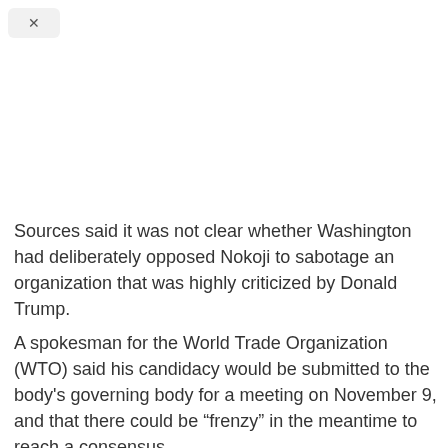[Figure (other): Close/dismiss button (X) in top-left corner]
Sources said it was not clear whether Washington had deliberately opposed Nokoji to sabotage an organization that was highly criticized by Donald Trump.
A spokesman for the World Trade Organization (WTO) said his candidacy would be submitted to the body's governing body for a meeting on November 9, and that there could be “frenzy” in the meantime to reach a consensus.